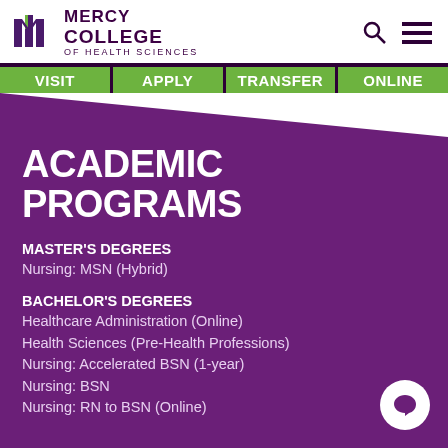Mercy College of Health Sciences
VISIT | APPLY | TRANSFER | ONLINE
ACADEMIC PROGRAMS
MASTER'S DEGREES
Nursing: MSN (Hybrid)
BACHELOR'S DEGREES
Healthcare Administration (Online)
Health Sciences (Pre-Health Professions)
Nursing: Accelerated BSN (1-year)
Nursing: BSN
Nursing: RN to BSN (Online)